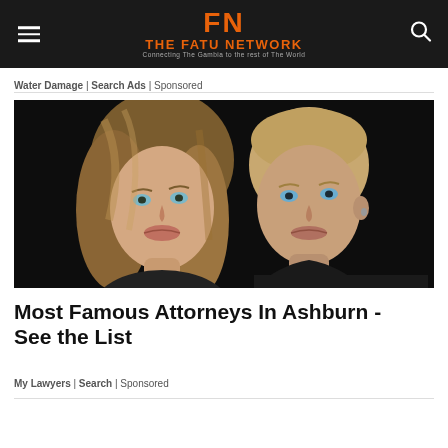THE FATU NETWORK — Connecting The Gambia to the rest of The World
Water Damage | Search Ads | Sponsored
[Figure (photo): A blonde woman and a short-haired man posing together against a dark background]
Most Famous Attorneys In Ashburn - See the List
My Lawyers | Search | Sponsored